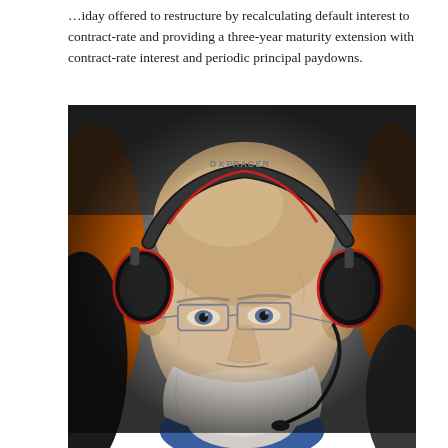…iday offered to restructure by recalculating default interest to contract-rate and providing a three-year maturity extension with contract-rate interest and periodic principal paydowns.
[Figure (photo): Close-up portrait of an elderly man with a white beard and glasses, wearing a black and red DXP gaming headset, seated in an orange and black gaming chair.]